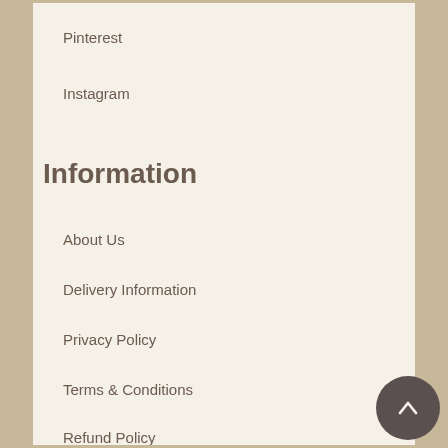Pinterest
Instagram
Information
About Us
Delivery Information
Privacy Policy
Terms & Conditions
Refund Policy
Animal Testing Policy
News, Press and Awards